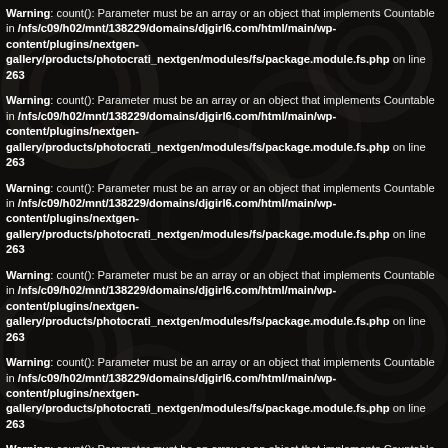Warning: count(): Parameter must be an array or an object that implements Countable in /nfs/c09/h02/mnt/138229/domains/djgirl6.com/html/main/wp-content/plugins/nextgen-gallery/products/photocrati_nextgen/modules/fs/package.module.fs.php on line 263
Warning: count(): Parameter must be an array or an object that implements Countable in /nfs/c09/h02/mnt/138229/domains/djgirl6.com/html/main/wp-content/plugins/nextgen-gallery/products/photocrati_nextgen/modules/fs/package.module.fs.php on line 263
Warning: count(): Parameter must be an array or an object that implements Countable in /nfs/c09/h02/mnt/138229/domains/djgirl6.com/html/main/wp-content/plugins/nextgen-gallery/products/photocrati_nextgen/modules/fs/package.module.fs.php on line 263
Warning: count(): Parameter must be an array or an object that implements Countable in /nfs/c09/h02/mnt/138229/domains/djgirl6.com/html/main/wp-content/plugins/nextgen-gallery/products/photocrati_nextgen/modules/fs/package.module.fs.php on line 263
Warning: count(): Parameter must be an array or an object that implements Countable in /nfs/c09/h02/mnt/138229/domains/djgirl6.com/html/main/wp-content/plugins/nextgen-gallery/products/photocrati_nextgen/modules/fs/package.module.fs.php on line 263
Warning: count(): Parameter must be an array or an object that implements Countable in /nfs/c09/h02/mnt/138229/domains/djgirl6.com/html/main/wp-content/plugins/nextgen-gallery/products/photocrati_nextgen/modules/fs/package.module.fs.php on line 263
Warning: count(): Parameter must be an array or an object that implements Countable in